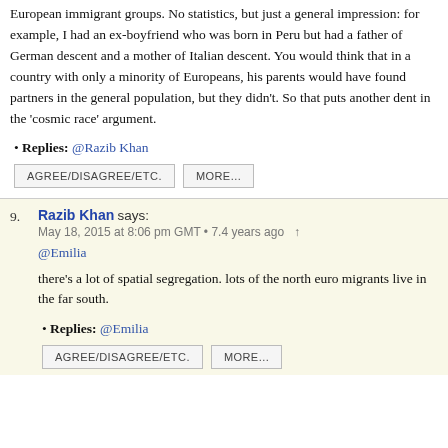European immigrant groups. No statistics, but just a general impression: for example, I had an ex-boyfriend who was born in Peru but had a father of German descent and a mother of Italian descent. You would think that in a country with only a minority of Europeans, his parents would have found partners in the general population, but they didn't. So that puts another dent in the 'cosmic race' argument.
Replies: @Razib Khan
AGREE/DISAGREE/ETC.   MORE...
9. Razib Khan says: May 18, 2015 at 8:06 pm GMT • 7.4 years ago
@Emilia
there's a lot of spatial segregation. lots of the north euro migrants live in the far south.
Replies: @Emilia
AGREE/DISAGREE/ETC.   MORE...